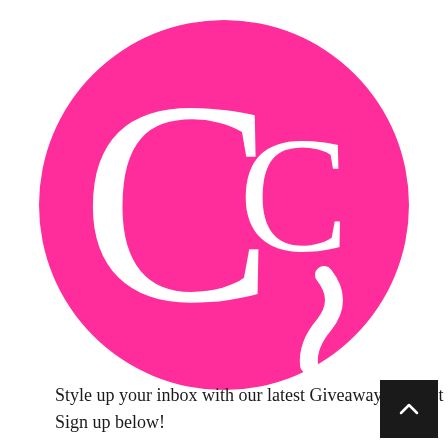[Figure (logo): Circular hot pink logo with large white serif letter 'C' on the left and smaller 'C?' (C with a question mark) on the right, on a white background]
Style up your inbox with our latest Giveaways & Post Sign up below!